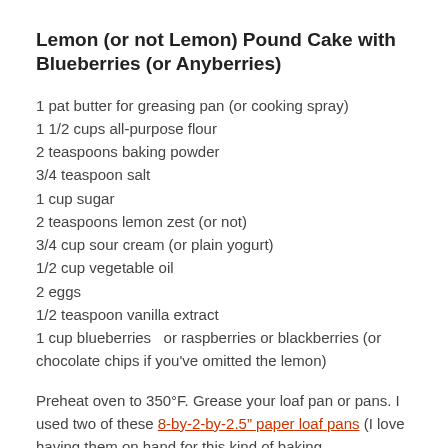Lemon (or not Lemon) Pound Cake with Blueberries (or Anyberries)
1 pat butter for greasing pan (or cooking spray)
1 1/2 cups all-purpose flour
2 teaspoons baking powder
3/4 teaspoon salt
1 cup sugar
2 teaspoons lemon zest (or not)
3/4 cup sour cream (or plain yogurt)
1/2 cup vegetable oil
2 eggs
1/2 teaspoon vanilla extract
1 cup blueberries  or raspberries or blackberries (or chocolate chips if you've omitted the lemon)
Preheat oven to 350°F. Grease your loaf pan or pans. I used two of these 8-by-2-by-2.5" paper loaf pans (I love having them on hand for this kind of baking